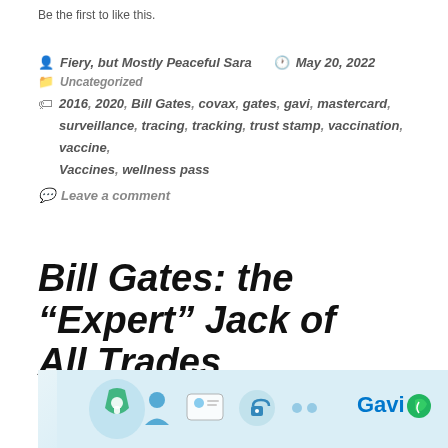Be the first to like this.
Post author: Fiery, but Mostly Peaceful Sara   Posted: May 20, 2022   Category: Uncategorized
2016, 2020, Bill Gates, covax, gates, gavi, mastercard, surveillance, tracing, tracking, trust stamp, vaccination, vaccine, Vaccines, wellness pass
Leave a comment
Bill Gates: the “Expert” Jack of All Trades
[Figure (illustration): Infographic showing digital health identity and vaccination icons alongside the Gavi logo with a blue and green color scheme]